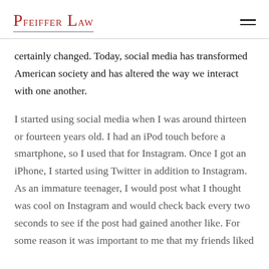Pfeiffer Law
certainly changed. Today, social media has transformed American society and has altered the way we interact with one another.
I started using social media when I was around thirteen or fourteen years old. I had an iPod touch before a smartphone, so I used that for Instagram. Once I got an iPhone, I started using Twitter in addition to Instagram. As an immature teenager, I would post what I thought was cool on Instagram and would check back every two seconds to see if the post had gained another like. For some reason it was important to me that my friends liked